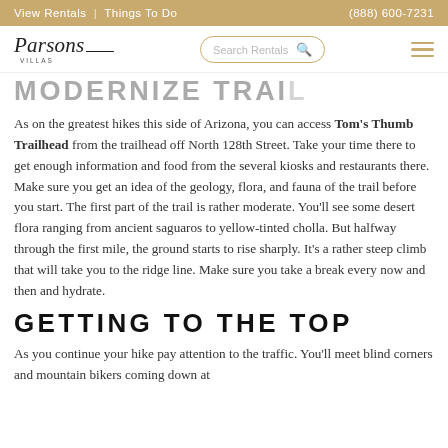View Rentals | Things To Do   (888) 600-7231
[Figure (logo): Parsons Villas logo with italic serif font and search bar with hamburger menu]
MODERNIZING TRAIL (partial, clipped)
As on the greatest hikes this side of Arizona, you can access Tom's Thumb Trailhead from the trailhead off North 128th Street. Take your time there to get enough information and food from the several kiosks and restaurants there. Make sure you get an idea of the geology, flora, and fauna of the trail before you start. The first part of the trail is rather moderate. You'll see some desert flora ranging from ancient saguaros to yellow-tinted cholla. But halfway through the first mile, the ground starts to rise sharply. It's a rather steep climb that will take you to the ridge line. Make sure you take a break every now and then and hydrate.
GETTING TO THE TOP
As you continue your hike pay attention to the traffic. You'll meet blind corners and mountain bikers coming down at